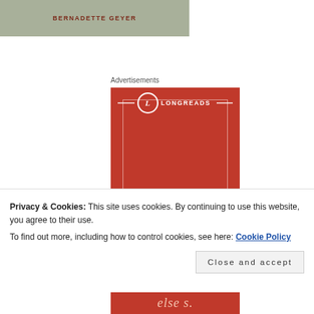[Figure (illustration): Book cover banner showing author name BERNADETTE GEYER on a sage green/grey background]
Advertisements
[Figure (logo): Longreads advertisement banner — red background with Longreads logo (circle with L and brand name) and decorative inner border]
Privacy & Cookies: This site uses cookies. By continuing to use this website, you agree to their use.
To find out more, including how to control cookies, see here: Cookie Policy
Close and accept